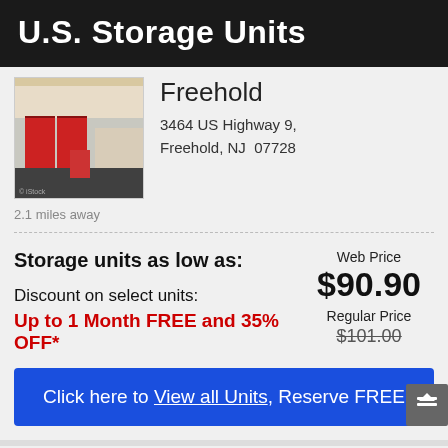U.S. Storage Units
[Figure (photo): Exterior photo of U.S. Storage Units Freehold facility showing red-doored storage units and parking lot]
Freehold
3464 US Highway 9, Freehold, NJ  07728
2.1 miles away
Storage units as low as:
Web Price $90.90
Discount on select units:
Regular Price $101.00
Up to 1 Month FREE and 35% OFF*
Click here to View all Units, Reserve FREE
Extra Space Storage Freehold
[Figure (logo): Extra Space Storage logo with blue badge showing number 3]